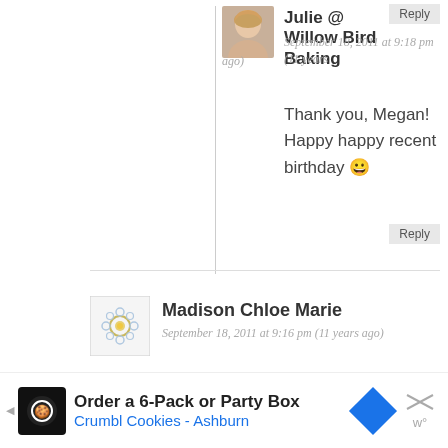Reply (button, top right)
[Figure (photo): Avatar of Julie from Willow Bird Baking – woman with blonde hair]
Julie @ Willow Bird Baking
September 18, 2011 at 9:18 pm (11 years ago)
Thank you, Megan! Happy happy recent birthday 😀
Reply (button, bottom right)
[Figure (illustration): Avatar for Madison Chloe Marie – decorative mandala/flower icon]
Madison Chloe Marie
September 18, 2011 at 9:16 pm (11 years ago)
What an adorable fur baby! I have been counting down the days of when pumpkin and fall like spices will begin waifing from the kitchen. Beautiful photography.
Order a 6-Pack or Party Box Crumbl Cookies - Ashburn